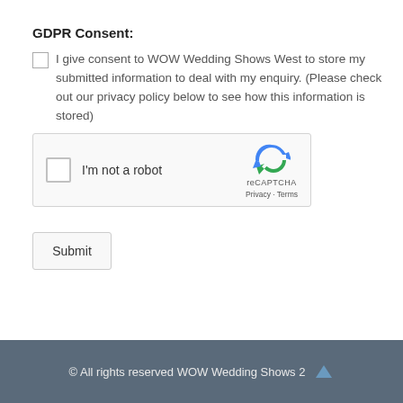GDPR Consent:
I give consent to WOW Wedding Shows West to store my submitted information to deal with my enquiry. (Please check out our privacy policy below to see how this information is stored)
[Figure (screenshot): reCAPTCHA widget with checkbox labeled 'I'm not a robot' and reCAPTCHA logo with Privacy and Terms links]
Submit
© All rights reserved WOW Wedding Shows 2